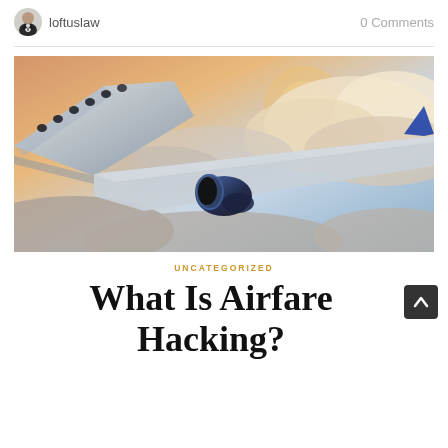loftuslaw   0 Comments
[Figure (photo): Close-up photo of a commercial airplane wing and engine in flight above clouds, with a warm golden sky in the background.]
UNCATEGORIZED
What Is Airfare Hacking?